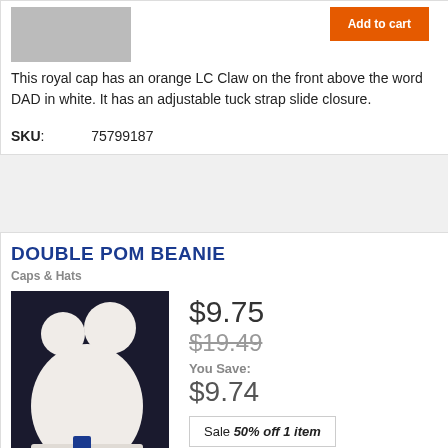[Figure (photo): Partial view of a royal blue cap from above]
This royal cap has an orange LC Claw on the front above the word DAD in white. It has an adjustable tuck strap slide closure.
SKU: 75799187
DOUBLE POM BEANIE
Caps & Hats
[Figure (photo): White double pom beanie hat on dark background]
$9.75
$19.49
You Save:
$9.74
Sale 50% off 1 item